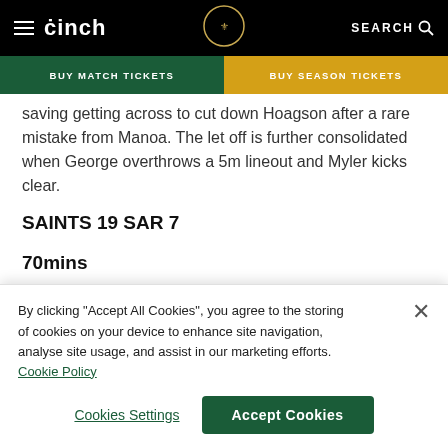cinch | BUY MATCH TICKETS | BUY SEASON TICKETS | SEARCH
saving getting across to cut down Hoagson after a rare mistake from Manoa. The let off is further consolidated when George overthrows a 5m lineout and Myler kicks clear.
SAINTS 19 SAR 7
70mins
Khris had a couple today and now his chief partner in
By clicking "Accept All Cookies", you agree to the storing of cookies on your device to enhance site navigation, analyse site usage, and assist in our marketing efforts. Cookie Policy
Cookies Settings | Accept Cookies